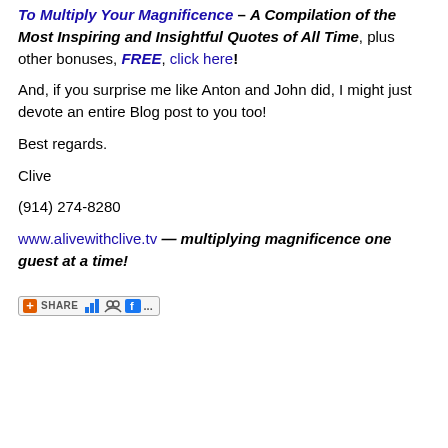To Multiply Your Magnificence – A Compilation of the Most Inspiring and Insightful Quotes of All Time, plus other bonuses, FREE, click here!
And, if you surprise me like Anton and John did, I might just devote an entire Blog post to you too!
Best regards.
Clive
(914) 274-8280
www.alivewithclive.tv — multiplying magnificence one guest at a time!
[Figure (other): Share button with social media icons (plus icon, SHARE label, bar chart icon, people icon, Facebook icon, ellipsis)]